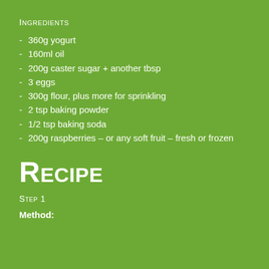Ingredients
360g yogurt
160ml oil
200g caster sugar + another tbsp
3 eggs
300g flour, plus more for sprinkling
2 tsp baking powder
1/2 tsp baking soda
200g raspberries – or any soft fruit – fresh or frozen
Recipe
Step 1
Method: